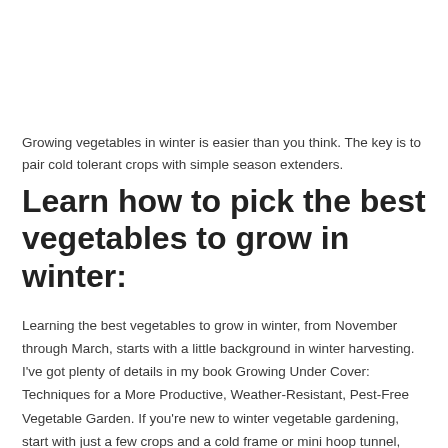Growing vegetables in winter is easier than you think. The key is to pair cold tolerant crops with simple season extenders.
Learn how to pick the best vegetables to grow in winter:
Learning the best vegetables to grow in winter, from November through March, starts with a little background in winter harvesting. I've got plenty of details in my book Growing Under Cover: Techniques for a More Productive, Weather-Resistant, Pest-Free Vegetable Garden. If you're new to winter vegetable gardening, start with just a few crops and a cold frame or mini hoop tunnel, experimenting with what works best in your region.  Climates milder than my zone 5 Nova Scotia garden, may find success with